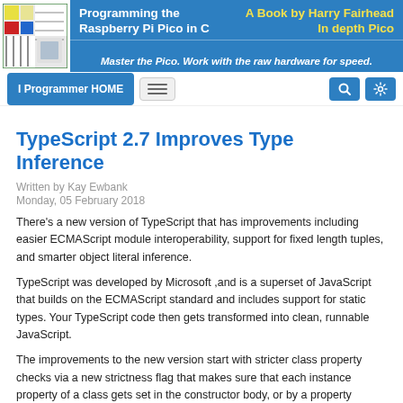[Figure (logo): I Programmer logo with colored squares and circuit board graphic]
Programming the Raspberry Pi Pico in C | A Book by Harry Fairhead In depth Pico | Master the Pico. Work with the raw hardware for speed.
I Programmer HOME
TypeScript 2.7 Improves Type Inference
Written by Kay Ewbank
Monday, 05 February 2018
There's a new version of TypeScript that has improvements including easier ECMAScript module interoperability, support for fixed length tuples, and smarter object literal inference.
TypeScript was developed by Microsoft ,and is a superset of JavaScript that builds on the ECMAScript standard and includes support for static types. Your TypeScript code then gets transformed into clean, runnable JavaScript.
The improvements to the new version start with stricter class property checks via a new strictness flag that makes sure that each instance property of a class gets set in the constructor body, or by a property initializer. Writing about the change on the MSDN blog,